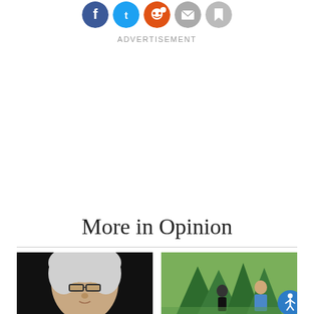[Figure (illustration): Row of five social media sharing icon buttons (Facebook blue, Twitter blue, Reddit orange-red, Email gray, Bookmark/save gray), all circular]
ADVERTISEMENT
More in Opinion
[Figure (photo): Headshot of an older woman with white/gray hair and dark-rimmed glasses against a dark background]
[Figure (photo): Outdoor photo showing people near evergreen trees; a man in a blue shirt visible on the right; blue accessibility icon badge overlaid in the lower-right corner]